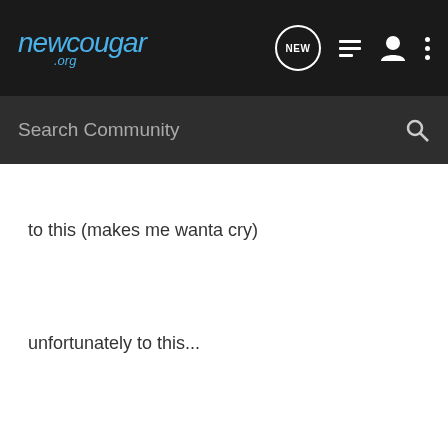newcougar .org
Search Community
to this (makes me wanta cry)
unfortunately to this...
to!!!!